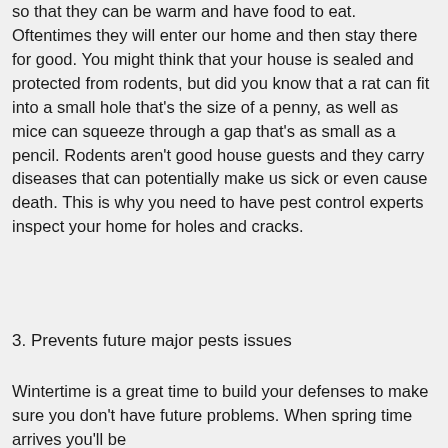so that they can be warm and have food to eat. Oftentimes they will enter our home and then stay there for good. You might think that your house is sealed and protected from rodents, but did you know that a rat can fit into a small hole that's the size of a penny, as well as mice can squeeze through a gap that's as small as a pencil. Rodents aren't good house guests and they carry diseases that can potentially make us sick or even cause death. This is why you need to have pest control experts inspect your home for holes and cracks.
3. Prevents future major pests issues
Wintertime is a great time to build your defenses to make sure you don't have future problems. When spring time arrives you'll be